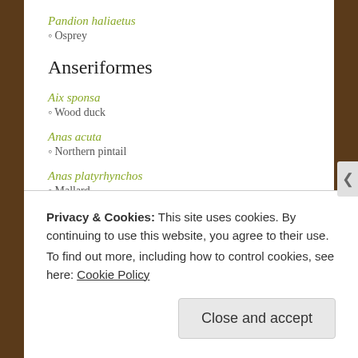Pandion haliaetus / Osprey
Anseriformes
Aix sponsa / Wood duck
Anas acuta / Northern pintail
Anas platyrhynchos / Mallard
Aythya affinis / Lesser scaup
Privacy & Cookies: This site uses cookies. By continuing to use this website, you agree to their use. To find out more, including how to control cookies, see here: Cookie Policy